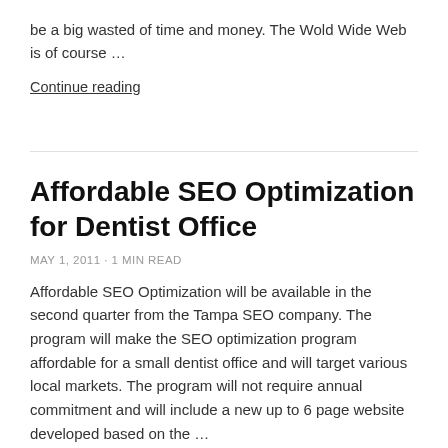be a big wasted of time and money. The Wold Wide Web is of course …
Continue reading
Affordable SEO Optimization for Dentist Office
MAY 1, 2011 · 1 min read
Affordable SEO Optimization will be available in the second quarter from the Tampa SEO company. The program will make the SEO optimization program affordable for a small dentist office and will target various local markets. The program will not require annual commitment and will include a new up to 6 page website developed based on the …